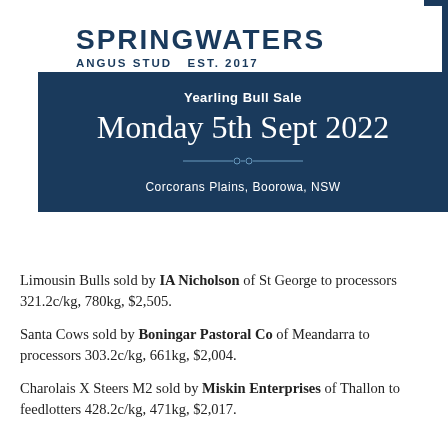SPRINGWATERS
ANGUS STUD  EST. 2017
Yearling Bull Sale
Monday 5th Sept 2022
Corcorans Plains, Boorowa, NSW
Limousin Bulls sold by IA Nicholson of St George to processors 321.2c/kg, 780kg, $2,505.
Santa Cows sold by Boningar Pastoral Co of Meandarra to processors 303.2c/kg, 661kg, $2,004.
Charolais X Steers M2 sold by Miskin Enterprises of Thallon to feedlotters 428.2c/kg, 471kg, $2,017.